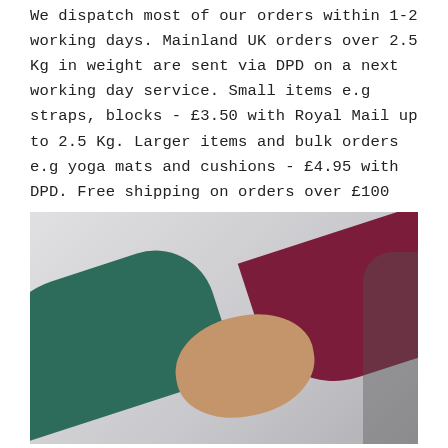We dispatch most of our orders within 1-2 working days. Mainland UK orders over 2.5 Kg in weight are sent via DPD on a next working day service. Small items e.g straps, blocks - £3.50 with Royal Mail up to 2.5 Kg. Larger items and bulk orders e.g yoga mats and cushions - £4.95 with DPD. Free shipping on orders over £100
[Figure (photo): Two people shaking hands — one wearing a teal/green long-sleeve top, the other wearing a dark maroon/burgundy long-sleeve top. The background is light grey.]